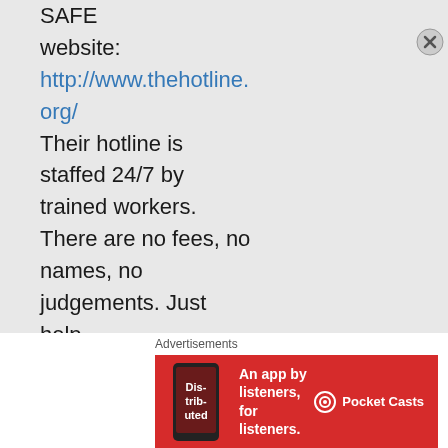SAFE website: http://www.thehotline.org/ Their hotline is staffed 24/7 by trained workers. There are no fees, no names, no judgements. Just help.

If you are in a country other than
Advertisements
[Figure (infographic): Red advertisement banner for Pocket Casts app: 'An app by listeners, for listeners.' with phone image and Pocket Casts logo]